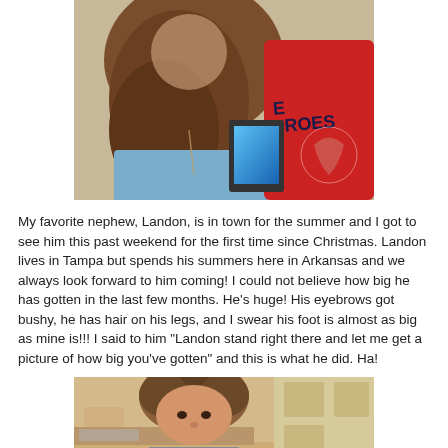[Figure (photo): Close-up photo of a girl with long brown hair wearing a blue shirt, and a person in a red Heroes shirt, holding a tablet with a blue screen.]
My favorite nephew, Landon, is in town for the summer and I got to see him this past weekend for the first time since Christmas. Landon lives in Tampa but spends his summers here in Arkansas and we always look forward to him coming! I could not believe how big he has gotten in the last few months. He's huge! His eyebrows got bushy, he has hair on his legs, and I swear his foot is almost as big as mine is!!! I said to him "Landon stand right there and let me get a picture of how big you've gotten" and this is what he did. Ha!
[Figure (photo): Photo of a young boy with short brown hair taken from above, showing the top of his head and face, in a kitchen setting.]